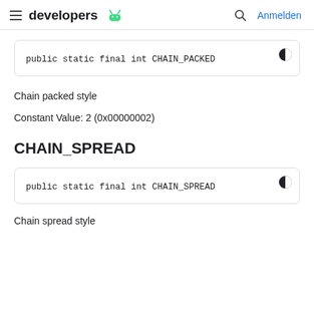developers [android logo] Anmelden
public static final int CHAIN_PACKED
Chain packed style
Constant Value: 2 (0x00000002)
CHAIN_SPREAD
public static final int CHAIN_SPREAD
Chain spread style